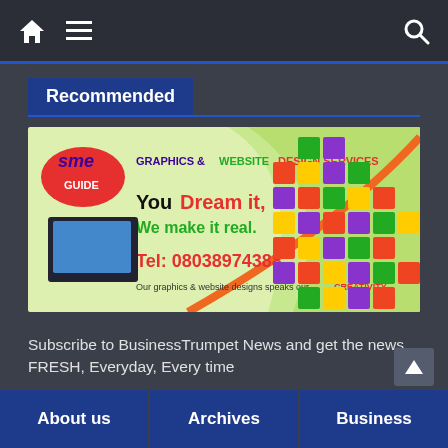Navigation bar with home icon, hamburger menu, and search icon
Recommended
[Figure (illustration): SME Guide advertisement banner for graphics and website design services. Shows SME Guide logo, text 'GRAPHICS & WEBSITE DESIGN SERVICES', 'You Dream it, We make it real.', 'Tel: 08038974388', 'Our graphics & website designs speaks our CREATIVITY'. Right side shows colorful 3D blocks/cubes puzzle.]
Subscribe to BusinessTrumpet News and get the news FRESH, Everyday, Every time
About us | Archives | Business
[Figure (illustration): Up arrow button for scroll-to-top]